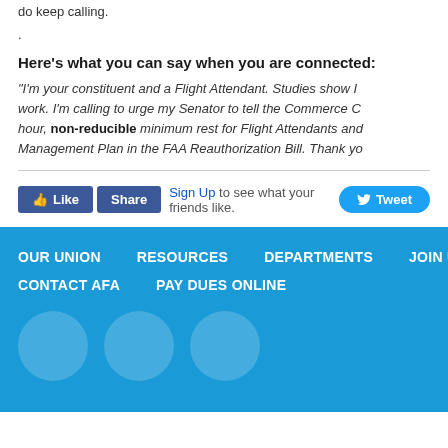do keep calling.
Here's what you can say when you are connected:
“I’m your constituent and a Flight Attendant. Studies show I work. I'm calling to urge my Senator to tell the Commerce C hour, non-reducible minimum rest for Flight Attendants and Management Plan in the FAA Reauthorization Bill. Thank yo
Like   Share   Sign Up to see what your friends like.   Tweet
OUR UNION
RESOURCES
DEPARTMENTS
JOIN US
CONTACT AFA
PAY DUES ONLINE